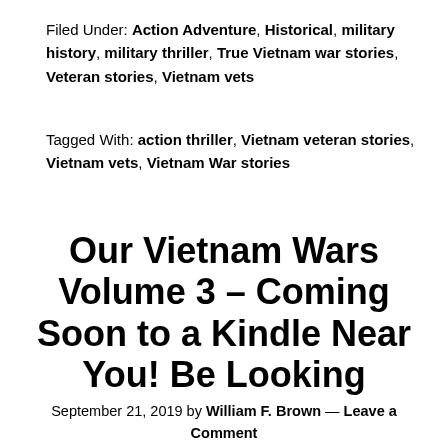Filed Under: Action Adventure, Historical, military history, military thriller, True Vietnam war stories, Veteran stories, Vietnam vets
Tagged With: action thriller, Vietnam veteran stories, Vietnam vets, Vietnam War stories
Our Vietnam Wars Volume 3 – Coming Soon to a Kindle Near You! Be Looking
September 21, 2019 by William F. Brown — Leave a Comment